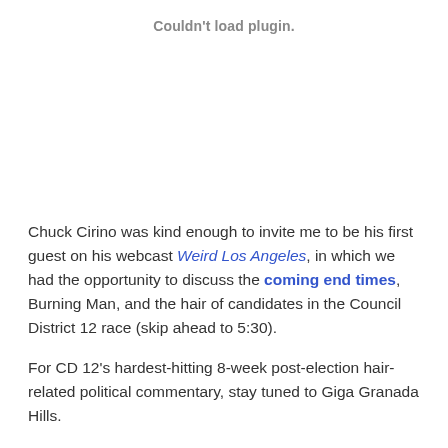[Figure (other): Plugin placeholder area with 'Couldn't load plugin.' notice and empty gray/white space]
Chuck Cirino was kind enough to invite me to be his first guest on his webcast Weird Los Angeles, in which we had the opportunity to discuss the coming end times, Burning Man, and the hair of candidates in the Council District 12 race (skip ahead to 5:30).
For CD 12's hardest-hitting 8-week post-election hair-related political commentary, stay tuned to Giga Granada Hills.